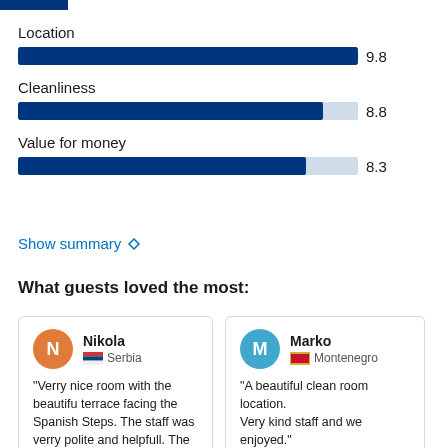[Figure (other): Dark blue partial bar at top left (cropped rating bar)]
Location
[Figure (bar-chart): Guest ratings]
Show summary
What guests loved the most:
Nikola
Serbia
"Verry nice room with the beautifu terrace facing the Spanish Steps. The staff was verry polite and helpfull. The room was nice and clean. Only the view is worth every
Marko
Montenegro
"A beautiful clean room location.
Very kind staff and we enjoyed."